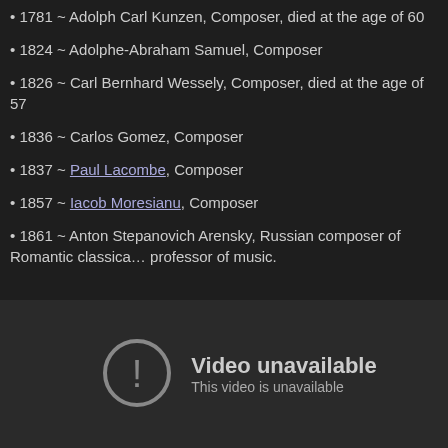1781 ~ Adolph Carl Kunzen, Composer, died at the age of 60
1824 ~ Adolphe-Abraham Samuel, Composer
1826 ~ Carl Bernhard Wessely, Composer, died at the age of 57
1836 ~ Carlos Gomez, Composer
1837 ~ Paul Lacombe, Composer
1857 ~ Iacob Moresianu, Composer
1861 ~ Anton Stepanovich Arensky, Russian composer of Romantic classical music and professor of music.
[Figure (screenshot): Embedded video player showing 'Video unavailable' error with exclamation mark icon and text 'This video is unavailable']